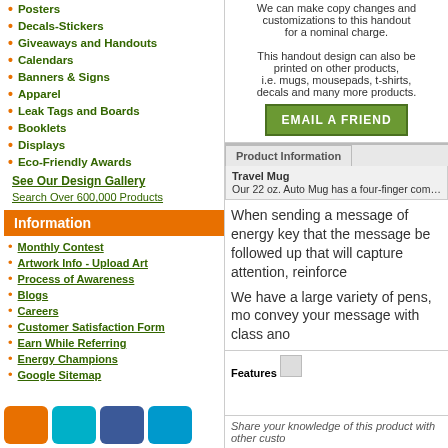Posters
Decals-Stickers
Giveaways and Handouts
Calendars
Banners & Signs
Apparel
Leak Tags and Boards
Booklets
Displays
Eco-Friendly Awards
See Our Design Gallery
Search Over 600,000 Products
Information
Monthly Contest
Artwork Info - Upload Art
Process of Awareness
Blogs
Careers
Customer Satisfaction Form
Earn While Referring
Energy Champions
Google Sitemap
We can make copy changes and customizations to this handout for a nominal charge.
This handout design can also be printed on other products, i.e. mugs, mousepads, t-shirts, decals and many more products.
EMAIL A FRIEND
Product Information
Travel Mug
Our 22 oz. Auto Mug has a four-finger comfort hand FDA Compliant - Safe for Food Contact. Dishwashe Diameter
When sending a message of energy key that the message be followed up that will capture attention, reinforce
We have a large variety of pens, mo convey your message with class ano
Features
Share your knowledge of this product with other custo